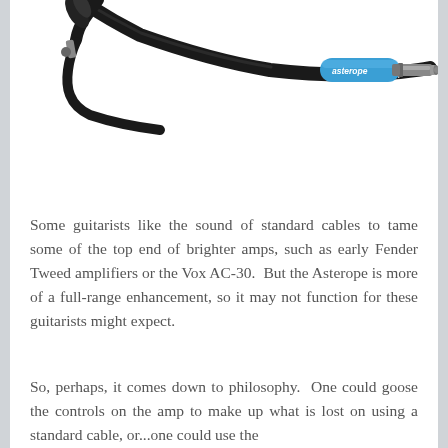[Figure (photo): Photo of Asterope guitar cable with black cable body, one angled plug end with black connector and one straight plug end with blue rubber boot labeled 'asterope' and a metal 1/4-inch jack]
Some guitarists like the sound of standard cables to tame some of the top end of brighter amps, such as early Fender Tweed amplifiers or the Vox AC-30.  But the Asterope is more of a full-range enhancement, so it may not function for these guitarists might expect.
So, perhaps, it comes down to philosophy.  One could goose the controls on the amp to make up what is lost on using a standard cable, or...one could use the